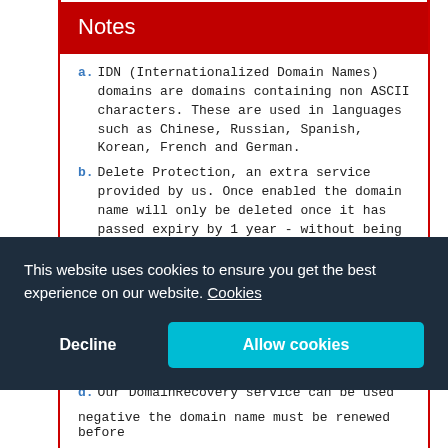Notes
a. IDN (Internationalized Domain Names) domains are domains containing non ASCII characters. These are used in languages such as Chinese, Russian, Spanish, Korean, French and German.
b. Delete Protection, an extra service provided by us. Once enabled the domain name will only be deleted once it has passed expiry by 1 year - without being renewed - it will then be deleted.
c. Super Lock, Once selected an additional level of security to inter-registrar transfers is enabled; telephone calls and other physical proof of identification will be required to verify the transfer.
d. Our DomainRecovery service can be used if your domain name is accidentally deleted or cancelled by...
This website uses cookies to ensure you get the best experience on our website. Cookies
Decline
Allow cookies
negative the domain name must be renewed before